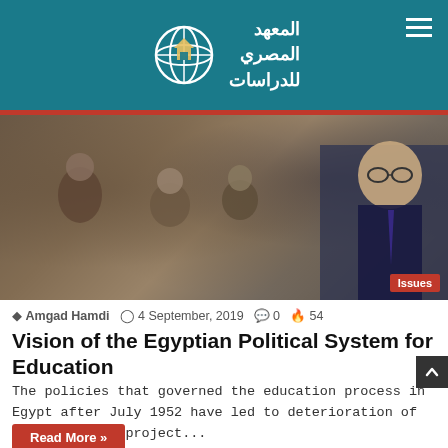[Figure (logo): Logo of the Egyptian Institute for Studies - globe icon with Arabic text المعهد المصري للدراسات on teal background]
[Figure (photo): Composite image showing children studying in a classroom and a man in a suit with glasses on the right side, with Issues badge in bottom right]
Amgad Hamdi  4 September, 2019  0  54
Vision of the Egyptian Political System for Education
The policies that governed the education process in Egypt after July 1952 have led to deterioration of the education project...
Read More »